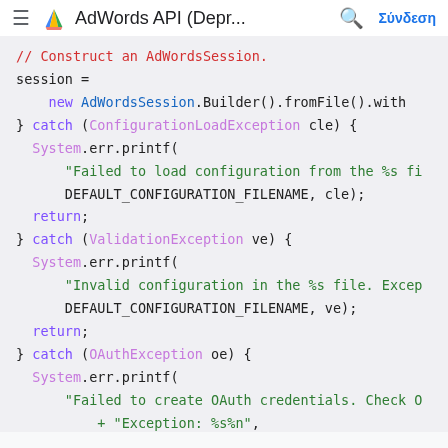AdWords API (Depr... | Σύνδεση
[Figure (screenshot): Java code snippet showing AdWordsSession construction with catch blocks for ConfigurationLoadException, ValidationException, and OAuthException, with System.err.printf error messages and return statements.]